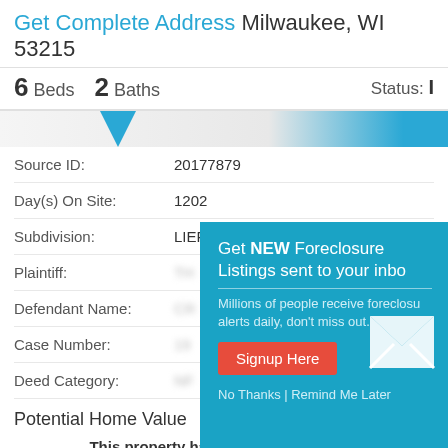Get Complete Address Milwaukee, WI 53215
6 Beds  2 Baths  Status: I
Source ID: 20177879
Day(s) On Site: 1202
Subdivision: LIEFERT'S 02
Plaintiff: TH...
Defendant Name: CR...
Case Number: 19...
Deed Category: NF...
Potential Home Value
This property has untapped potential!
[Figure (infographic): Popup modal with teal background: 'Get NEW Foreclosure Listings sent to your inbox. Millions of people receive foreclosure alerts daily, don't miss out. Signup Here button. No Thanks | Remind Me Later links.' With envelope icon.]